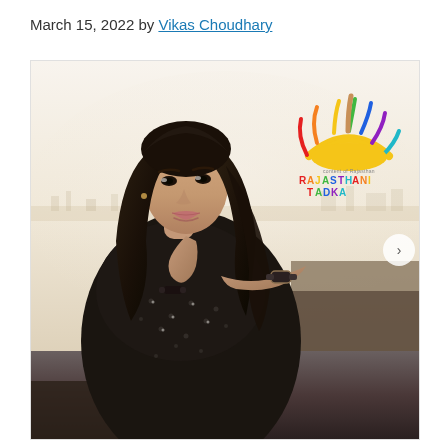March 15, 2022 by Vikas Choudhary
[Figure (photo): A young woman wearing a black polka-dot top and a watch, posing with her hand near her chin. She has long brown hair and is photographed outdoors on a rooftop or elevated area with a hazy cityscape in the background. A watermark/logo for 'Rajasthani Tadka' appears in the upper right corner of the image. A right-arrow navigation button is visible on the right edge.]